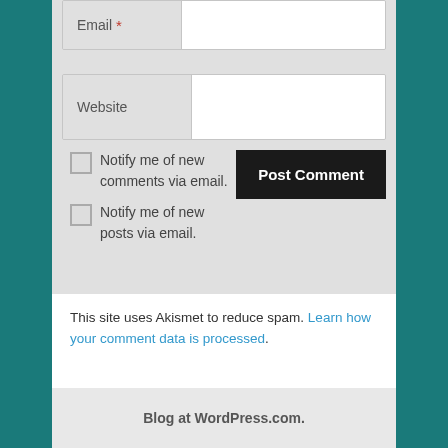[Figure (screenshot): Email input field with label 'Email' and red asterisk required marker]
[Figure (screenshot): Website input field with label 'Website']
Notify me of new comments via email.
Notify me of new posts via email.
[Figure (screenshot): Post Comment button in dark/black color]
This site uses Akismet to reduce spam. Learn how your comment data is processed.
Blog at WordPress.com.